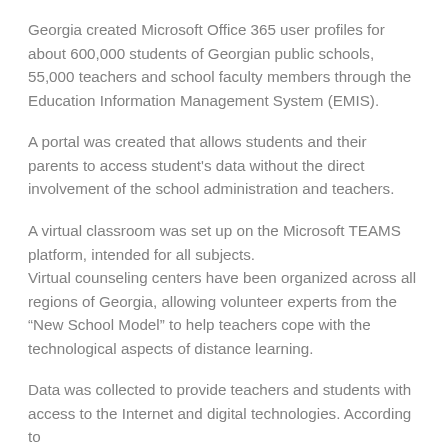Georgia created Microsoft Office 365 user profiles for about 600,000 students of Georgian public schools, 55,000 teachers and school faculty members through the Education Information Management System (EMIS).
A portal was created that allows students and their parents to access student's data without the direct involvement of the school administration and teachers.
A virtual classroom was set up on the Microsoft TEAMS platform, intended for all subjects. Virtual counseling centers have been organized across all regions of Georgia, allowing volunteer experts from the “New School Model” to help teachers cope with the technological aspects of distance learning.
Data was collected to provide teachers and students with access to the Internet and digital technologies. According to